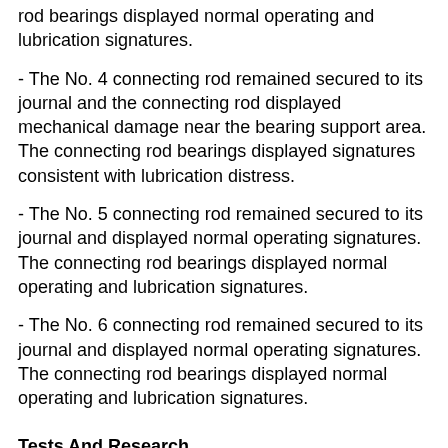rod bearings displayed normal operating and lubrication signatures.
- The No. 4 connecting rod remained secured to its journal and the connecting rod displayed mechanical damage near the bearing support area. The connecting rod bearings displayed signatures consistent with lubrication distress.
- The No. 5 connecting rod remained secured to its journal and displayed normal operating signatures. The connecting rod bearings displayed normal operating and lubrication signatures.
- The No. 6 connecting rod remained secured to its journal and displayed normal operating signatures. The connecting rod bearings displayed normal operating and lubrication signatures.
Tests And Research
According to Continental Motors Service Bulletin SB03-3, cylinder removal regardless of compression should not be